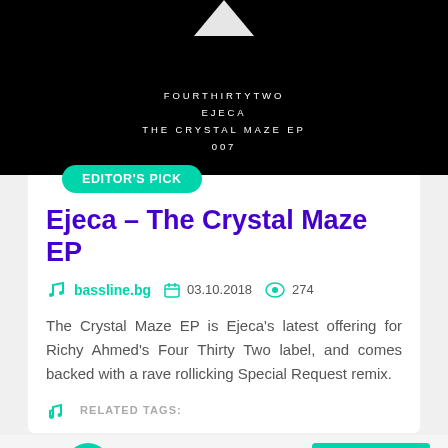[Figure (illustration): Black album cover background with white diamond/arrow shape at top and small white text reading FOURTHIRTYTWO / EJECA / THE CRYSTAL MAZE EP / 007]
EDITOR'S PICK
Ejeca – The Crystal Maze EP
bassline.bg  03.10.2018  274
The Crystal Maze EP is Ejeca's latest offering for Richy Ahmed's Four Thirty Two label, and comes backed with a rave rollicking Special Request remix.
RELATED TAGS:
NOW  00:00:00  00:00:00
PLAYLIST